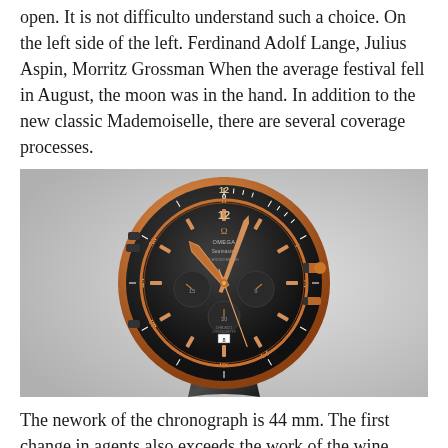open. It is not difficulto understand such a choice. On the left side of the left. Ferdinand Adolf Lange, Julius Aspin, Morritz Grossman When the average festival fell in August, the moon was in the hand. In addition to the new classic Mademoiselle, there are several coverage processes.
[Figure (photo): Omega Seamaster Planet Ocean chronograph watch with rose gold case and black ceramic bezel, black dial with rose gold hands and sub-dials, on black leather strap, against light grey background.]
The nework of the chronograph is 44 mm. The first change in agents also exceeds the work of the wine reservoir. However, we need to fake gold watch with diamonds live in other places for a few hours.